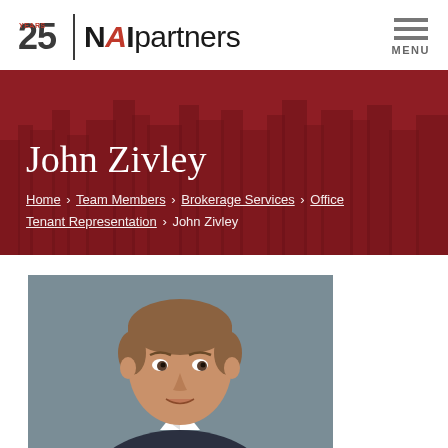25 YEARS | NAI partners — MENU
John Zivley
Home › Team Members › Brokerage Services › Office Tenant Representation › John Zivley
[Figure (photo): Professional headshot of John Zivley, a young man with light brown hair, wearing a suit, against a gray background.]